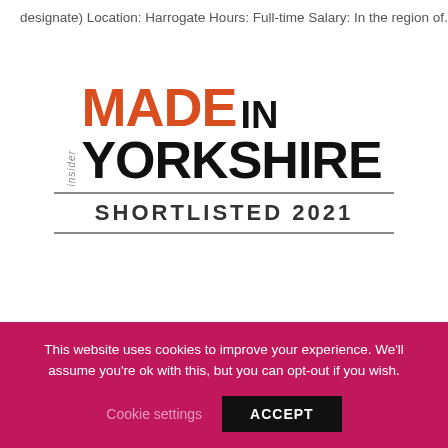designate) Location: Harrogate Hours: Full-time Salary: In the region of...
[Figure (logo): Insider Made in Yorkshire Shortlisted 2021 logo. 'MADE' in orange/red bold, 'IN' in black bold, 'YORKSHIRE' in large black bold, horizontal divider lines, 'SHORTLISTED 2021' in black spaced capitals, with 'insider' in small italic rotated text on the left.]
Taplanes recognised for their outstanding achievements.
This website uses cookies to improve your experience. We'll assume you're ok with this, but you can opt-out if you wish.
Cookie settings   ACCEPT